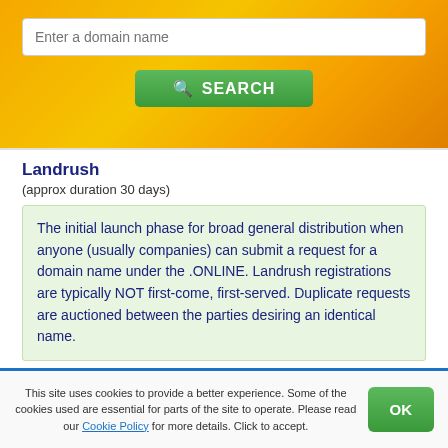[Figure (screenshot): Domain name search bar with orange/yellow gradient background and a green SEARCH button]
Landrush
(approx duration 30 days)
The initial launch phase for broad general distribution when anyone (usually companies) can submit a request for a domain name under the .ONLINE. Landrush registrations are typically NOT first-come, first-served. Duplicate requests are auctioned between the parties desiring an identical name.
General availability
This site uses cookies to provide a better experience. Some of the cookies used are essential for parts of the site to operate. Please read our Cookie Policy for more details. Click to accept.